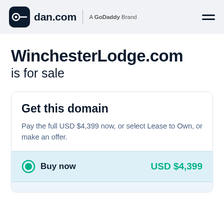dan.com — A GoDaddy Brand
WinchesterLodge.com is for sale
Get this domain
Pay the full USD $4,399 now, or select Lease to Own, or make an offer.
Buy now — USD $4,399